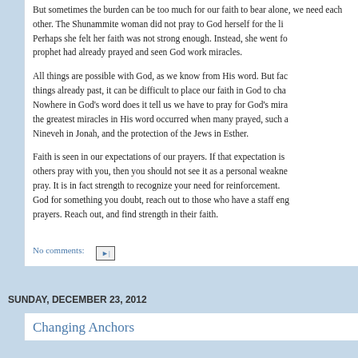But sometimes the burden can be too much for our faith to bear alone, we need each other. The Shunammite woman did not pray to God herself for the life of her son. Perhaps she felt her faith was not strong enough. Instead, she went for the man of God, the prophet had already prayed and seen God work miracles.
All things are possible with God, as we know from His word. But facing the worst of things already past, it can be difficult to place our faith in God to change them. Nowhere in God's word does it tell us we have to pray for God's miracles alone. Some of the greatest miracles in His word occurred when many prayed, such as the repentance of Nineveh in Jonah, and the protection of the Jews in Esther.
Faith is seen in our expectations of our prayers. If that expectation is low, and you want others pray with you, then you should not see it as a personal weakness that you cannot pray. It is in fact strength to recognize your need for reinforcement. When you are asking God for something you doubt, reach out to those who have a staff engagement in their prayers. Reach out, and find strength in their faith.
No comments:
SUNDAY, DECEMBER 23, 2012
Changing Anchors